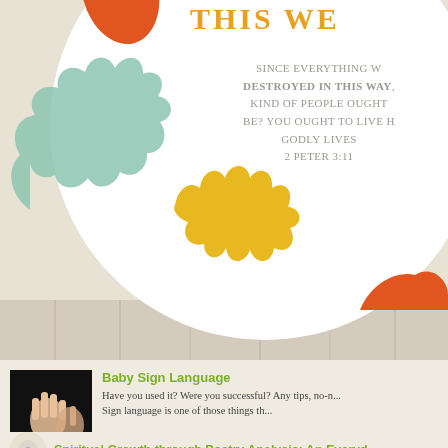THIS WE...
Since everything w... destroyed in this way, kind of people ought be? You ought to live h godly lives 2 Peter 3:11
[Figure (illustration): Decorative shapes: orange teardrop top-left, teal oak-leaf shape left, yellow scalloped sun-ray shape center, orange splash shape bottom-right]
[Figure (photo): Black and white photo of hands making sign language gestures (baby hands)]
Baby Sign Language — Have you used it? Were you successful? Any tips, no-no... Sign language is one of those things th...
Spiritual Growth through Poetry Analysis: An Everyd...